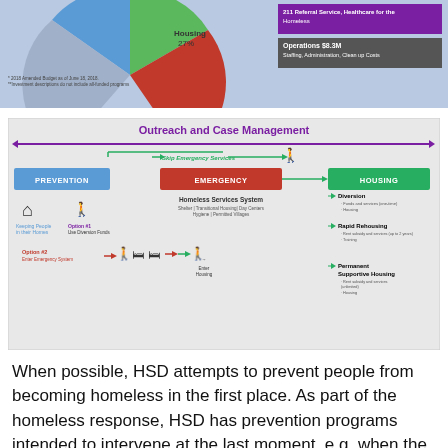[Figure (infographic): Partial pie chart with Housing 27% slice visible, with legend showing 211 Referral Service Healthcare for the Homeless (purple) and Operations $8.3M Staffing Administration Clean up Costs (gray). Footnotes about 2018 Amended Budget.]
[Figure (flowchart): Outreach and Case Management flowchart showing flow from Prevention to Emergency to Housing with options including Skip Emergency Services, Homeless Services System, Diversion, Rapid Rehousing, and Permanent Supportive Housing.]
When possible, HSD attempts to prevent people from becoming homeless in the first place. As part of the homeless response, HSD has prevention programs intended to intervene at the last moment, e.g. when the person is receiving an eviction (HSD has all...